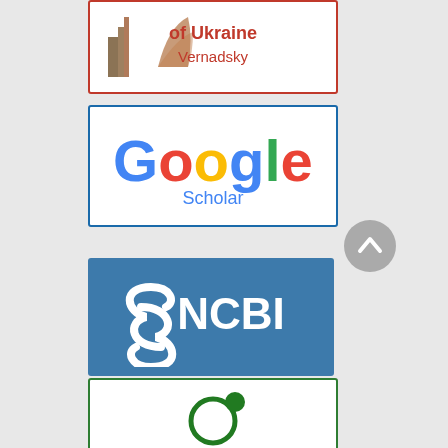[Figure (logo): Vernadsky National Library of Ukraine logo — orange/brown text with building illustration]
[Figure (logo): Google Scholar logo — colorful Google letters with 'Scholar' in blue below]
[Figure (other): Gray circle scroll-up button with upward chevron]
[Figure (logo): NCBI logo — steel blue background with white S-curve symbol and NCBI text]
[Figure (logo): SHERPA/RoMEO logo — green circle molecule icon with SHERPA/RoMEO text in dark green]
[Figure (logo): OpenAIRE logo — dark blue ring with cyan plus circle and OpenAIRE text in blue/teal]